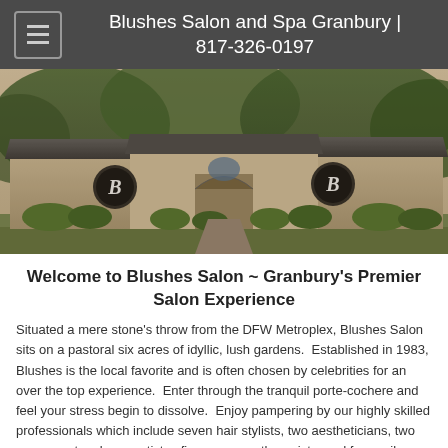Blushes Salon and Spa Granbury | 817-326-0197
[Figure (photo): Exterior photograph of Blushes Salon and Spa building, a low ranch-style structure with two wings each bearing a circular 'B' logo sign, surrounded by lush trees and manicured shrubs, taken at dusk with warm lighting.]
Welcome to Blushes Salon ~ Granbury's Premier Salon Experience
Situated a mere stone's throw from the DFW Metroplex, Blushes Salon sits on a pastoral six acres of idyllic, lush gardens.  Established in 1983, Blushes is the local favorite and is often chosen by celebrities for an over the top experience.  Enter through the tranquil porte-cochere and feel your stress begin to dissolve.  Enjoy pampering by our highly skilled professionals which include seven hair stylists, two aestheticians, two permanent make up artists,  five massage therapists, and four nail technicians.